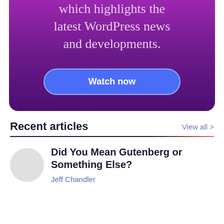[Figure (screenshot): Purple gradient banner card with text 'which highlights the latest WordPress news and developments.' and a blue 'Watch now' button]
Recent articles
View all >
Did You Mean Gutenberg or Something Else?
Jeff Chandler